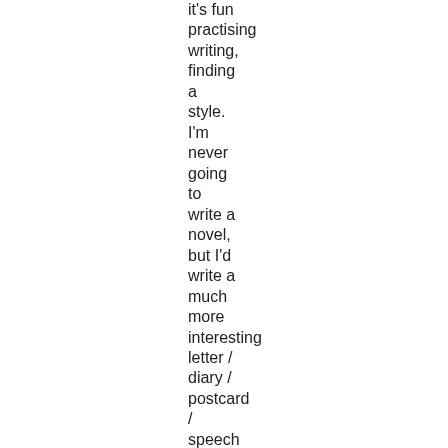it's fun practising writing, finding a style. I'm never going to write a novel, but I'd write a much more interesting letter / diary / postcard / speech / email, now. If I ever had